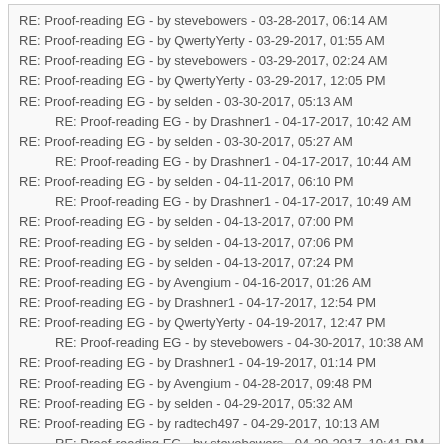RE: Proof-reading EG - by stevebowers - 03-28-2017, 06:14 AM
RE: Proof-reading EG - by QwertyYerty - 03-29-2017, 01:55 AM
RE: Proof-reading EG - by stevebowers - 03-29-2017, 02:24 AM
RE: Proof-reading EG - by QwertyYerty - 03-29-2017, 12:05 PM
RE: Proof-reading EG - by selden - 03-30-2017, 05:13 AM
RE: Proof-reading EG - by Drashner1 - 04-17-2017, 10:42 AM (indented)
RE: Proof-reading EG - by selden - 03-30-2017, 05:27 AM
RE: Proof-reading EG - by Drashner1 - 04-17-2017, 10:44 AM (indented)
RE: Proof-reading EG - by selden - 04-11-2017, 06:10 PM
RE: Proof-reading EG - by Drashner1 - 04-17-2017, 10:49 AM (indented)
RE: Proof-reading EG - by selden - 04-13-2017, 07:00 PM
RE: Proof-reading EG - by selden - 04-13-2017, 07:06 PM
RE: Proof-reading EG - by selden - 04-13-2017, 07:24 PM
RE: Proof-reading EG - by Avengium - 04-16-2017, 01:26 AM
RE: Proof-reading EG - by Drashner1 - 04-17-2017, 12:54 PM
RE: Proof-reading EG - by QwertyYerty - 04-19-2017, 12:47 PM
RE: Proof-reading EG - by stevebowers - 04-30-2017, 10:38 AM (indented)
RE: Proof-reading EG - by Drashner1 - 04-19-2017, 01:14 PM
RE: Proof-reading EG - by Avengium - 04-28-2017, 09:48 PM
RE: Proof-reading EG - by selden - 04-29-2017, 05:32 AM
RE: Proof-reading EG - by radtech497 - 04-29-2017, 10:13 AM
RE: Proof-reading EG - by stevebowers - 04-29-2017, 10:41 PM (indented)
RE: Proof-reading EG - by stevebowers - 04-29-2017, 11:01 AM
RE: Proof-reading EG - by Avengium - 04-29-2017, 09:52 PM
RE: Proof-reading EG - by selden - 04-29-2017, 11:08 PM